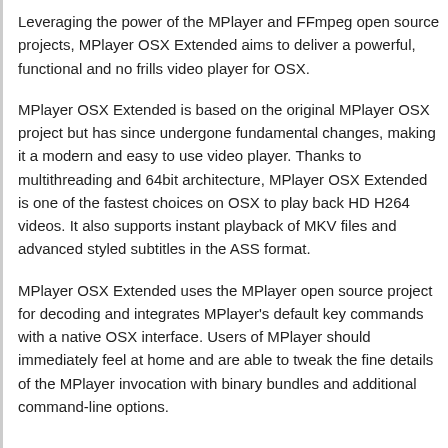Leveraging the power of the MPlayer and FFmpeg open source projects, MPlayer OSX Extended aims to deliver a powerful, functional and no frills video player for OSX.
MPlayer OSX Extended is based on the original MPlayer OSX project but has since undergone fundamental changes, making it a modern and easy to use video player. Thanks to multithreading and 64bit architecture, MPlayer OSX Extended is one of the fastest choices on OSX to play back HD H264 videos. It also supports instant playback of MKV files and advanced styled subtitles in the ASS format.
MPlayer OSX Extended uses the MPlayer open source project for decoding and integrates MPlayer's default key commands with a native OSX interface. Users of MPlayer should immediately feel at home and are able to tweak the fine details of the MPlayer invocation with binary bundles and additional command-line options.